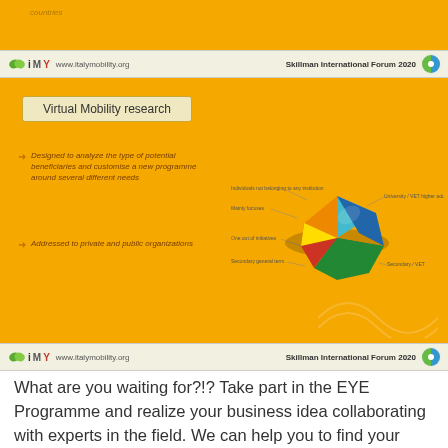[Figure (screenshot): Top strip of yellow slide with partial text 'countries']
www.italymobility.org   Skillman International Forum 2020
Virtual Mobility research
Designed to analyze the type of potential beneficiaries and customise a new programme around several different needs
Addressed to private and public organizations
[Figure (pie-chart): 3D pie chart with multiple colored segments: teal/blue, green, red/orange, yellow, with legend labels including 'Mainly focuses', 'One out of initiatives', 'Secondary general term', 'University / VET higher education']
www.italymobility.org   Skillman International Forum 2020
What are you waiting for?!? Take part in the EYE Programme and realize your business idea collaborating with experts in the field. We can help you to find your perfect Host Entrepreneur in Europe.